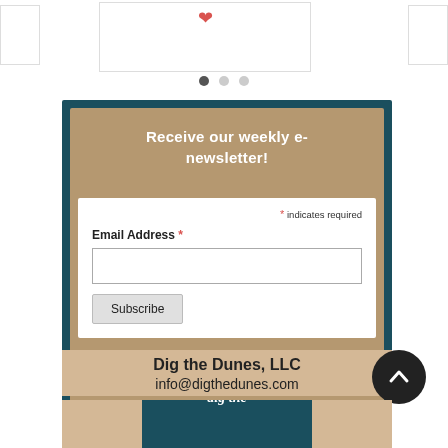[Figure (screenshot): Carousel top strip with left card, center card showing red heart icon, and right card]
[Figure (infographic): Three navigation dots, first one active/dark, other two grey]
Receive our weekly e-newsletter!
* indicates required
Email Address *
Subscribe
Dig the Dunes, LLC
info@digthedunes.com
[Figure (logo): Dig the Dunes logo - teal semicircle with italic white text 'dig the']